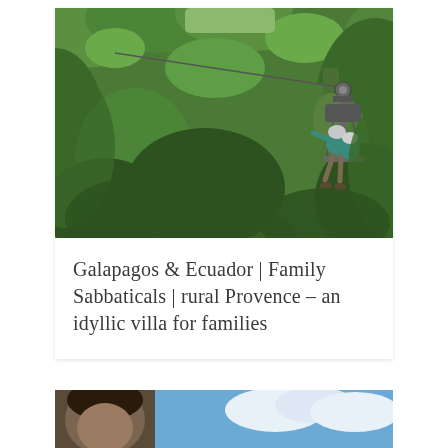[Figure (photo): Two people riding a zipline through a lush green tropical jungle/rainforest. The riders are wearing helmets and are suspended from a zipline cable, surrounded by dense green foliage and trees.]
Galapagos & Ecuador | Family Sabbaticals | rural Provence – an idyllic villa for families
[Figure (photo): Partial view of a second article card showing a photo with blue sky and what appears to be a person, cropped at the bottom of the page.]